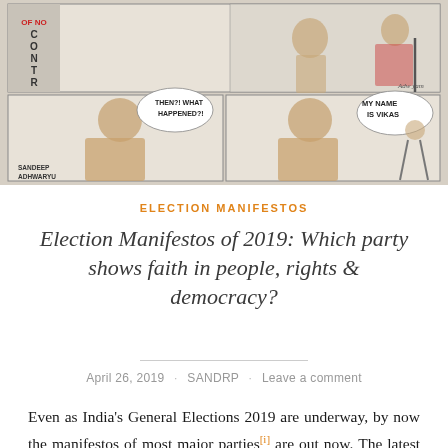[Figure (illustration): Political cartoon strip showing a bearded figure resembling a political leader in multiple panels. Panels show: 'OF NO CONTROL' text on left, a figure speaking 'THEN?! WHAT HAPPENED?!' in bottom-left panel, and 'MY NAME IS VIKAS' speech bubble in bottom-right panel. Credited to SANDEEP ADHWARYU.]
ELECTION MANIFESTOS
Election Manifestos of 2019: Which party shows faith in people, rights & democracy?
April 26, 2019 · SANDRP · Leave a comment
Even as India's General Elections 2019 are underway, by now the manifestos of most major parties[i] are out now. The latest one to come out was from AAP on April 25,